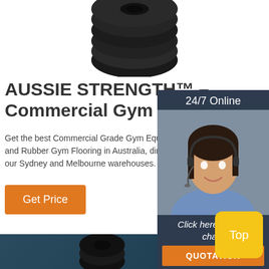[Figure (photo): Top portion of a black rubber gym roll/flooring product on white background]
AUSSIE STRENGTH™ – Commercial Gym Equipm…
Get the best Commercial Grade Gym Equ… and Rubber Gym Flooring in Australia, dire… our Sydney and Melbourne warehouses.
[Figure (photo): 24/7 Online chat widget with woman wearing headset, dark navy background, 'Click here for free chat!' text and orange QUOTATION button]
[Figure (photo): Bottom section with dark teal background showing dumbbell/gym equipment pieces]
[Figure (other): Yellow 'Top' button in bottom right]